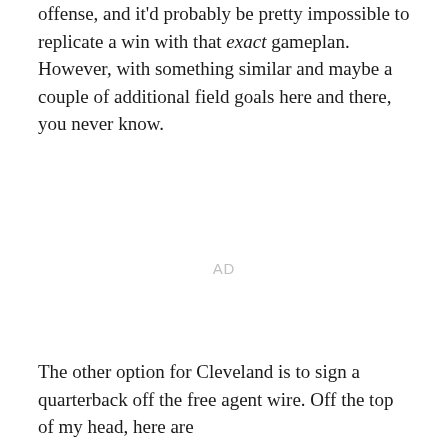offense, and it'd probably be pretty impossible to replicate a win with that exact gameplan. However, with something similar and maybe a couple of additional field goals here and there, you never know.
AD
The other option for Cleveland is to sign a quarterback off the free agent wire. Off the top of my head, here are